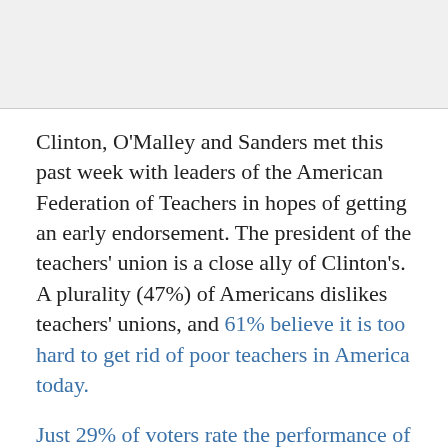[Figure (photo): Image placeholder at top of page]
Clinton, O'Malley and Sanders met this past week with leaders of the American Federation of Teachers in hopes of getting an early endorsement. The president of the teachers' union is a close ally of Clinton's. A plurality (47%) of Americans dislikes teachers' unions, and 61% believe it is too hard to get rid of poor teachers in America today.
Just 29% of voters rate the performance of U.S. public schools as good or excellent.  Only 25% think...